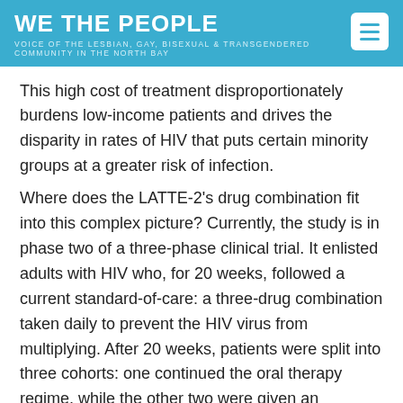WE THE PEOPLE
VOICE OF THE LESBIAN, GAY, BISEXUAL & TRANSGENDERED COMMUNITY IN THE NORTH BAY
This high cost of treatment disproportionately burdens low-income patients and drives the disparity in rates of HIV that puts certain minority groups at a greater risk of infection.
Where does the LATTE-2's drug combination fit into this complex picture? Currently, the study is in phase two of a three-phase clinical trial. It enlisted adults with HIV who, for 20 weeks, followed a current standard-of-care: a three-drug combination taken daily to prevent the HIV virus from multiplying. After 20 weeks, patients were split into three cohorts: one continued the oral therapy regime, while the other two were given an injectable combination of drugs every four weeks or eight weeks. For two years, each patient's HIV levels were regularly measured and they were